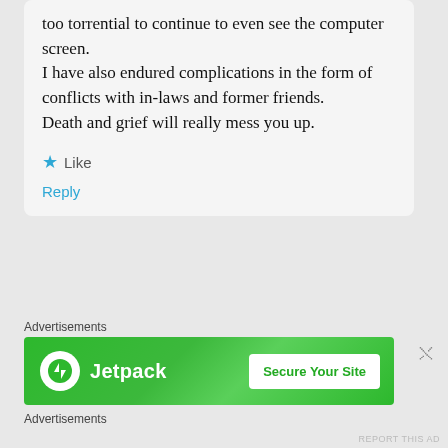too torrential to continue to even see the computer screen.
I have also endured complications in the form of conflicts with in-laws and former friends.
Death and grief will really mess you up.
★ Like
Reply
Advertisements
[Figure (screenshot): Jetpack advertisement banner with green background, Jetpack logo and icon on left, 'Secure Your Site' button on right]
Advertisements
REPORT THIS AD